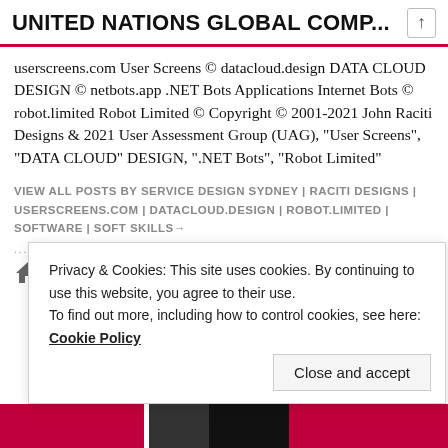UNITED NATIONS GLOBAL COMP...
userscreens.com User Screens © datacloud.design DATA CLOUD DESIGN © netbots.app .NET Bots Applications Internet Bots © robot.limited Robot Limited © Copyright © 2001-2021 John Raciti Designs & 2021 User Assessment Group (UAG), "User Screens", "DATA CLOUD" DESIGN, ".NET Bots", "Robot Limited"
VIEW ALL POSTS BY SERVICE DESIGN SYDNEY | RACITI DESIGNS | USERSCREENS.COM | DATACLOUD.DESIGN | ROBOT.LIMITED | SOFTWARE | SOFT SKILLS→
............
Privacy & Cookies: This site uses cookies. By continuing to use this website, you agree to their use.
To find out more, including how to control cookies, see here: Cookie Policy
Close and accept